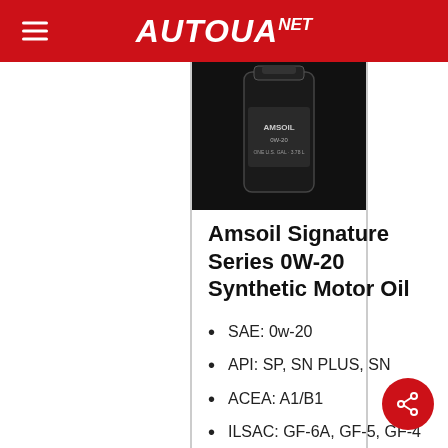AUTOUA NET
[Figure (photo): Product photo of Amsoil motor oil bottle (black container), partially visible at top of content area]
Amsoil Signature Series 0W-20 Synthetic Motor Oil
SAE: 0w-20
API: SP, SN PLUS, SN
ACEA: A1/B1
ILSAC: GF-6A, GF-5, GF-4
Chrysler MS-6395
Ford WSS-M2C947-B1, WSS-M2C947-A